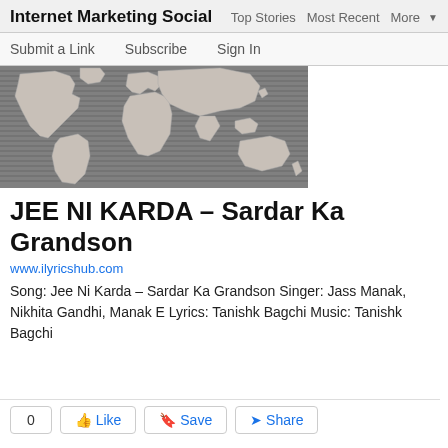Internet Marketing Social   Top Stories   Most Recent   More
Submit a Link   Subscribe   Sign In
[Figure (illustration): World map illustration on grey striped background, showing continents in light grey/white on a darker grey horizontal-striped background]
JEE NI KARDA – Sardar Ka Grandson
www.ilyricshub.com
Song: Jee Ni Karda – Sardar Ka Grandson Singer: Jass Manak, Nikhita Gandhi, Manak E Lyrics: Tanishk Bagchi Music: Tanishk Bagchi
0   Like   Save   Share